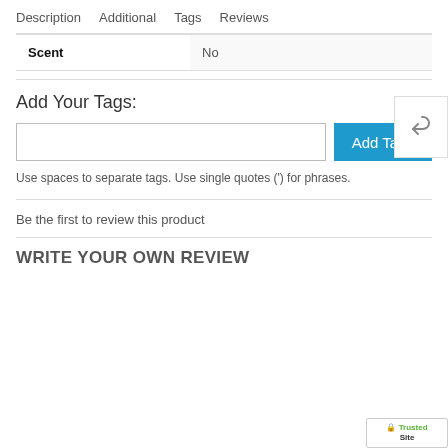Description  Additional  Tags  Reviews
| Scent | No |
Add Your Tags:
Use spaces to separate tags. Use single quotes (') for phrases.
Be the first to review this product
WRITE YOUR OWN REVIEW